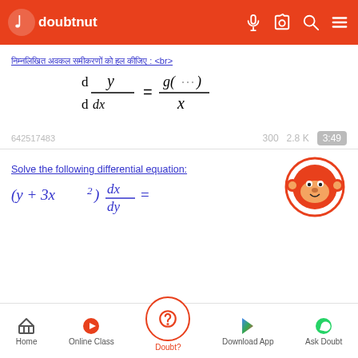doubtnut
[Figure (screenshot): Doubtnut app header with logo, microphone, camera, search, and menu icons on orange background]
Hindi math question with differential equation dy/dx = g(...)/x
642517483   300  2.8 K  3:49
Solve the following differential equation: (y + 3x²) dx/dy = ...
[Figure (illustration): Doubtnut monkey mascot logo in orange]
Home  Online Class  Doubt?  Download App  Ask Doubt